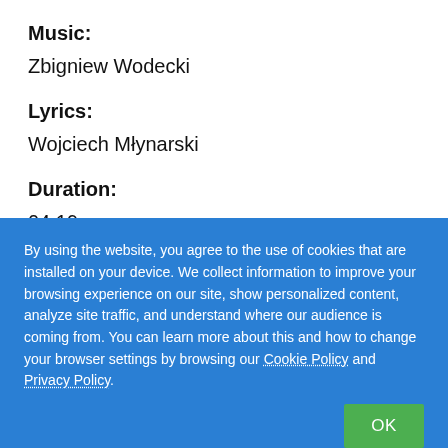Music:
Zbigniew Wodecki
Lyrics:
Wojciech Młynarski
Duration:
04:19
The way and the date of delivery:
Ordered files will be sent by e-mail to the specified e-
By using the website, you agree to the use of cookies that are installed on your device. We collect information to improve your browsing experience on our site, show personalized content, analyze site traffic, and understand where our audience is coming from. You can learn more about this and how to change your browser settings by browsing our Cookie Policy and Privacy Policy.